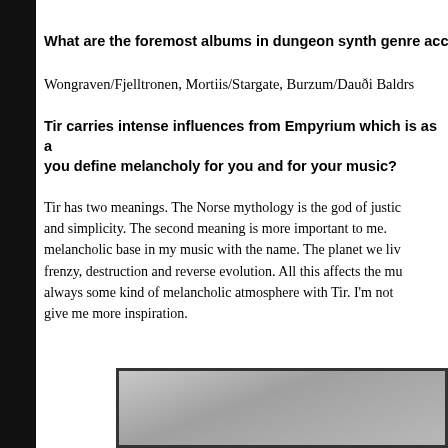What are the foremost albums in dungeon synth genre accor…
Wongraven/Fjelltronen, Mortiis/Stargate, Burzum/Dauði Baldrs
Tir carries intense influences from Empyrium which is as a… you define melancholy for you and for your music?
Tir has two meanings. The Norse mythology is the god of justic… and simplicity. The second meaning is more important to me. … melancholic base in my music with the name. The planet we liv… frenzy, destruction and reverse evolution. All this affects the mu… always some kind of melancholic atmosphere with Tir. I'm not … give me more inspiration.
[Figure (photo): Grayscale image partially visible at the bottom of the page, showing a dark-bordered rectangular framed photograph with grey tones.]